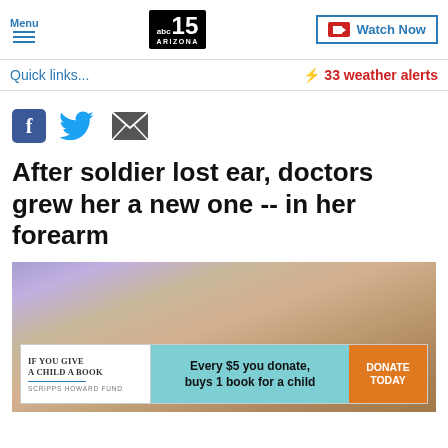Menu | abc15 ARIZONA | Watch Now
Quick links...
⚡ 33 weather alerts
[Figure (other): Social share icons: Facebook, Twitter, Email]
After soldier lost ear, doctors grew her a new one -- in her forearm
[Figure (photo): Close-up photo of a human forearm with surgical markings/scars, with an advertisement overlay at the bottom reading: IF YOU GIVE A CHILD A BOOK / SCRIPPS HOWARD FUND / Every $5 you donate, buys 1 book for a child / DONATE TODAY]